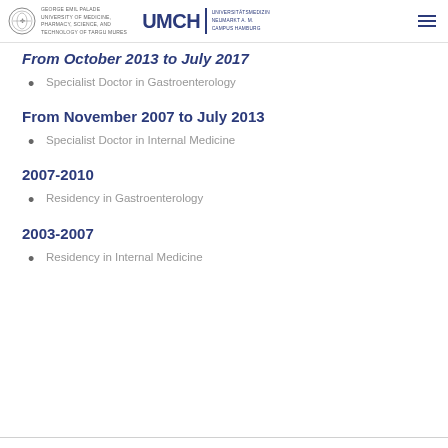George Emil Palade University of Medicine, Pharmacy, Science, and Technology of Targu Mures | UMCH | Universitätsmedizin Neumarkt A. M. Campus Hamburg
From October 2013 to July 2017
Specialist Doctor in Gastroenterology
From November 2007 to July 2013
Specialist Doctor in Internal Medicine
2007-2010
Residency in Gastroenterology
2003-2007
Residency in Internal Medicine